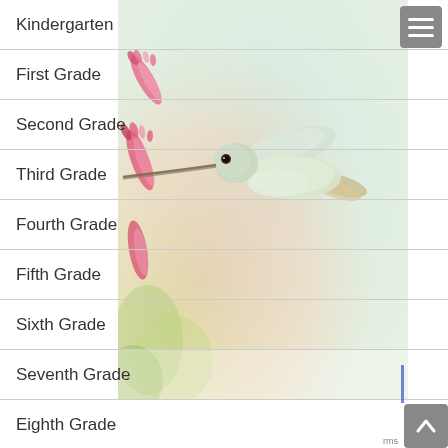[Figure (illustration): Colored pencil illustration of a hummingbird feeding from pink/red tubular flowers against a soft pastel blue, pink, and yellow background]
Kindergarten
First Grade
Second Grade
Third Grade
Fourth Grade
Fifth Grade
Sixth Grade
Seventh Grade
Eighth Grade